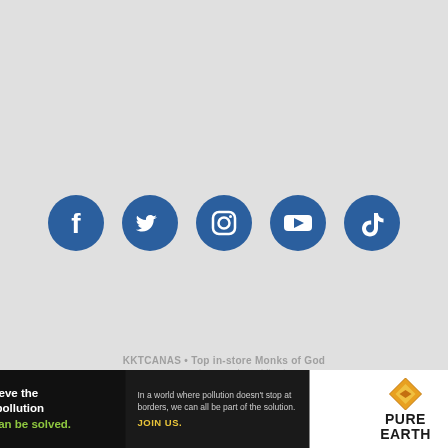[Figure (infographic): Five blue circular social media icons in a row: Facebook, Twitter, Instagram, YouTube, TikTok]
KKTCANAS • Top in-store Monks of God
An AHM assistant to the public Lines
[Figure (infographic): Pure Earth advertisement banner: 'We believe the global pollution crisis can be solved.' with Pure Earth logo]